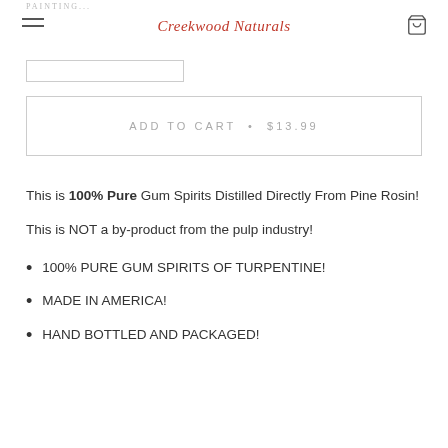Creekwood Naturals
ADD TO CART • $13.99
This is 100% Pure Gum Spirits Distilled Directly From Pine Rosin!
This is NOT a by-product from the pulp industry!
100% PURE GUM SPIRITS OF TURPENTINE!
MADE IN AMERICA!
HAND BOTTLED AND PACKAGED!